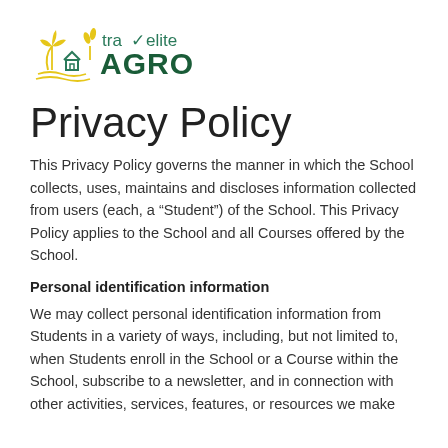[Figure (logo): travelite AGRO logo with yellow plant/tree icons and teal barn icon, green and yellow text]
Privacy Policy
This Privacy Policy governs the manner in which the School collects, uses, maintains and discloses information collected from users (each, a “Student”) of the School. This Privacy Policy applies to the School and all Courses offered by the School.
Personal identification information
We may collect personal identification information from Students in a variety of ways, including, but not limited to, when Students enroll in the School or a Course within the School, subscribe to a newsletter, and in connection with other activities, services, features, or resources we make